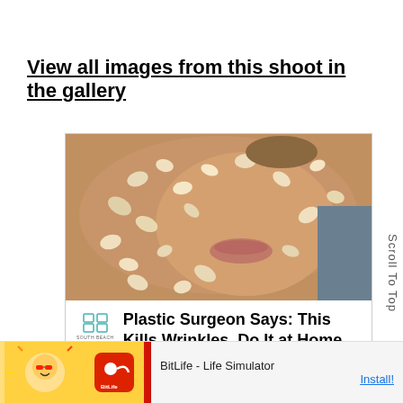View all images from this shoot in the gallery
[Figure (photo): Advertisement card showing a close-up of a person's face covered in an oatmeal/grain facial mask, with lips visible. Below the image is a logo for South Beach Skin Lab and text reading 'Plastic Surgeon Says: This Kills Wrinkles, Do It at Home'. Sponsored by SouthBeachSkinLab.]
[Figure (screenshot): Bottom banner ad for BitLife - Life Simulator app. Shows a cartoon character and app logo on colored background. Text: BitLife - Life Simulator. Install button.]